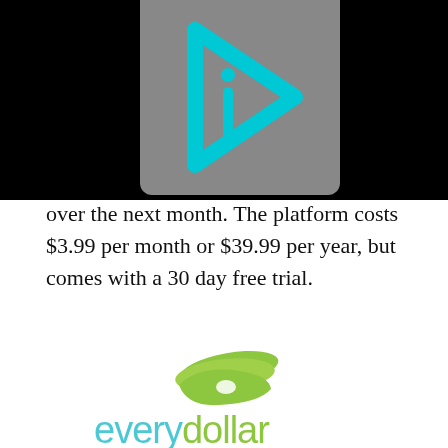[Figure (logo): Cyan play-button style logo with letter i inside, on gray background, above black bar]
over the next month. The platform costs $3.99 per month or $39.99 per year, but comes with a 30 day free trial.
[Figure (logo): EveryDollar logo: green stacked bills icon above the word 'everydollar' in teal/light blue and green text]